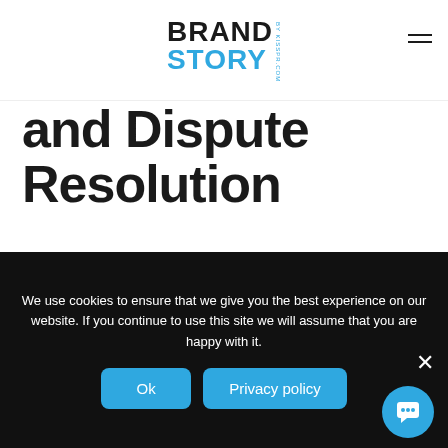[Figure (logo): Brand Story by KISS PR logo with BRAND in dark and STORY in blue]
and Dispute Resolution
KISS PR is controlled, operated, and administered entirely within the State of Texas USA. The laws of the State of Texas shall govern these Terms of Use for all matters, including dispute resolution.
We use cookies to ensure that we give you the best experience on our website. If you continue to use this site we will assume that you are happy with it.